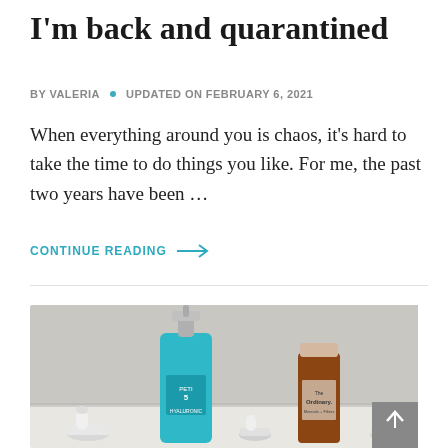I'm back and quarantined
BY VALERIA • UPDATED ON FEBRUARY 6, 2021
When everything around you is chaos, it's hard to take the time to do things you like. For me, the past two years have been …
CONTINUE READING →
[Figure (photo): Flatlay photo of skincare products on a white surface including a teal hyaluronic acid serum bottle, The Ordinary tube, and several dropper bottles]